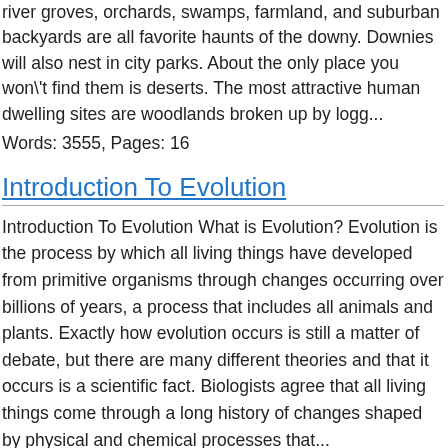river groves, orchards, swamps, farmland, and suburban backyards are all favorite haunts of the downy. Downies will also nest in city parks. About the only place you won't find them is deserts. The most attractive human dwelling sites are woodlands broken up by logg...
Words: 3555, Pages: 16
Introduction To Evolution
Introduction To Evolution What is Evolution? Evolution is the process by which all living things have developed from primitive organisms through changes occurring over billions of years, a process that includes all animals and plants. Exactly how evolution occurs is still a matter of debate, but there are many different theories and that it occurs is a scientific fact. Biologists agree that all living things come through a long history of changes shaped by physical and chemical processes that...